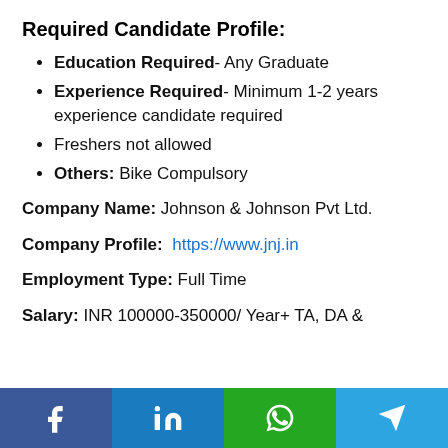Required Candidate Profile:
Education Required- Any Graduate
Experience Required- Minimum 1-2 years experience candidate required
Freshers not allowed
Others: Bike Compulsory
Company Name: Johnson & Johnson Pvt Ltd.
Company Profile: https://www.jnj.in
Employment Type: Full Time
Salary: INR 100000-350000/ Year+ TA, DA &